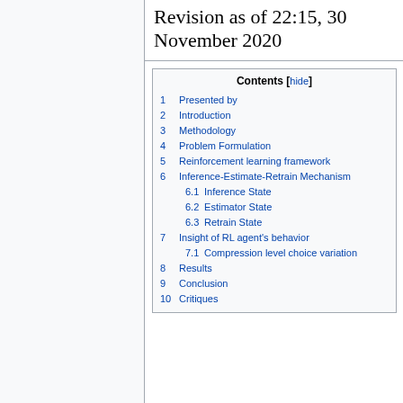Revision as of 22:15, 30 November 2020
| Contents [hide] |
| --- |
| 1  Presented by |
| 2  Introduction |
| 3  Methodology |
| 4  Problem Formulation |
| 5  Reinforcement learning framework |
| 6  Inference-Estimate-Retrain Mechanism |
| 6.1  Inference State |
| 6.2  Estimator State |
| 6.3  Retrain State |
| 7  Insight of RL agent's behavior |
| 7.1  Compression level choice variation |
| 8  Results |
| 9  Conclusion |
| 10  Critiques |